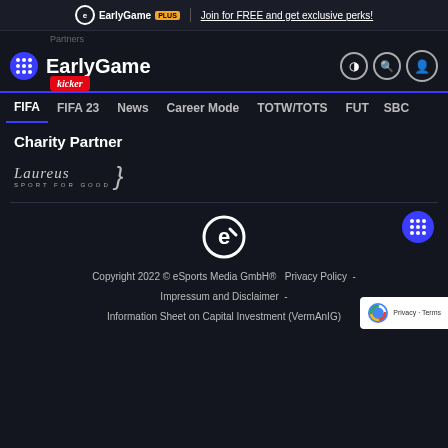EarlyGame PLUS | Join for FREE and get exclusive perks!
[Figure (logo): EarlyGame website header with logo, navigation icons and kicker partner badge]
FIFA  FIFA 23  News  Career Mode  TOTW/TOTS  FUT  SBC
Charity Partner
[Figure (logo): Laureus Sport for Good logo]
[Figure (logo): EarlyGame circular logo icon]
Copyright 2022 © eSports Media GmbH®   Privacy Policy  -  Impressum and Disclaimer  -  Information Sheet on Capital Investment (VermAnIG)